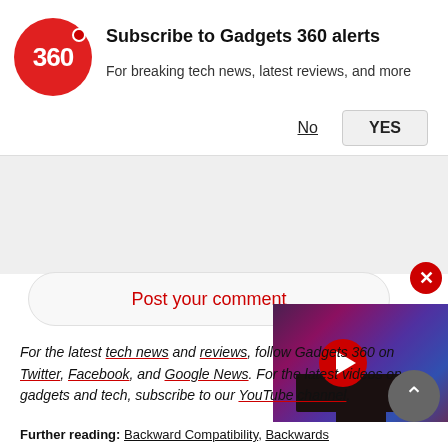[Figure (logo): Gadgets 360 red circle logo with '360' text and red dot]
Subscribe to Gadgets 360 alerts
For breaking tech news, latest reviews, and more
No
YES
Post your comment
[Figure (screenshot): Video thumbnail showing a TV with galaxy/space wallpaper and a red play button overlay]
For the latest tech news and reviews, follow Gadgets 360 on Twitter, Facebook, and Google News. For the latest videos on gadgets and tech, subscribe to our YouTube channel.
Further reading: Backward Compatibility, Backwards